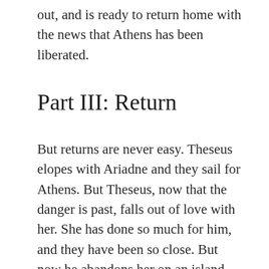out, and is ready to return home with the news that Athens has been liberated.
Part III: Return
But returns are never easy. Theseus elopes with Ariadne and they sail for Athens. But Theseus, now that the danger is past, falls out of love with her. She has done so much for him, and they have been so close. But now he abandons her on an island (where, in some versions, she will become the wife of Dionysus).